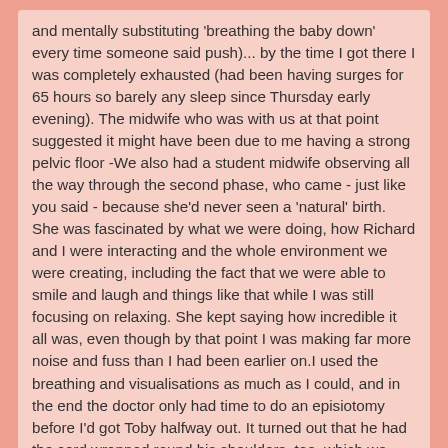and mentally substituting 'breathing the baby down' every time someone said push)... by the time I got there I was completely exhausted (had been having surges for 65 hours so barely any sleep since Thursday early evening).  The midwife who was with us at that point suggested it might have been due to me having a strong pelvic floor -We also had a student midwife observing all the way through the second phase, who came - just like you said - because she'd never seen a 'natural' birth.  She was fascinated by what we were doing, how Richard and I were interacting and the whole environment we were creating, including the fact that we were able to smile and laugh and things like that while I was still focusing on relaxing.  She kept saying how incredible it all was, even though by that point I was making far more noise and fuss than I had been earlier on.I used the breathing and visualisations as much as I could, and in the end the doctor only had time to do an episiotomy before I'd got Toby halfway out.  It turned out that he had the cord wrapped round his shoulders, too, which we don't think was helping matters!
Toby is for the most part a completely calm and relaxed little